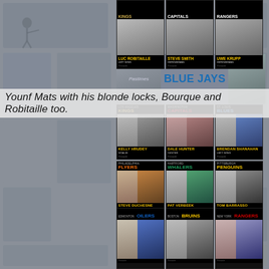[Figure (photo): Collage of vintage hockey trading cards (Pinnacle brand) and background baseball cards. Top partial row shows Luc Robitaille (Left Wing), Steve Smith (Defenseman), Uwe Krupp (Defenseman). Middle section shows Blue Jays card area. Main grid row 1: Kelly Hrudey (Goalie, LA Kings), Dale Hunter (Center, Washington Capitals), Brendan Shanahan (Left Wing, St. Louis Blues). Row 2: Steve Duchesne (Defenseman, Philadelphia Flyers), Pat Verbeek (Left Wing, Hartford Whalers), Tom Barrasso (Goalie, Pittsburgh Penguins). Bottom partial row: Edmonton Oilers player, Boston Bruins player, New York Rangers player. Background has faded baseball card images on left and right sides.]
Younf Mats with his blonde locks, Bourque and Robitaille too.